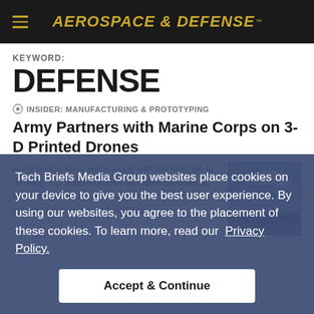AEROSPACE & DEFENSE
KEYWORD:
DEFENSE
⊙  INSIDER: MANUFACTURING & PROTOTYPING
Army Partners with Marine Corps on 3-D Printed Drones
Army researchers are working with the Marines to develop 3-D printed drones as materials science, aviation technology and software development... merge to deliver new capabilities.
[Figure (photo): Outdoor photo showing military drone or aircraft against blue sky with clouds]
Tech Briefs Media Group websites place cookies on your device to give you the best user experience. By using our websites, you agree to the placement of these cookies. To learn more, read our Privacy Policy.
Accept & Continue
⊙  INSIDER: IMAGING
New Invention Could Lead to Novel Terahertz